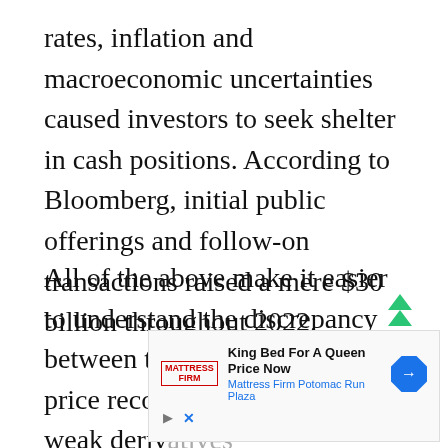rates, inflation and macroeconomic uncertainties caused investors to seek shelter in cash positions. According to Bloomberg, initial public offerings and follow-on transactions raised a mere $30 billion throughout 2022.
All of the above make it easier to understand the discrepancy between the recent Bitcoin price recovery to $32,300 and weak derivatives data because investors are pricing higher odds of a downturn, primarily driven by worsening global...
[Figure (other): Advertisement overlay: Mattress Firm - King Bed For A Queen Price Now, Mattress Firm Potomac Run Plaza, with a blue diamond navigation icon]